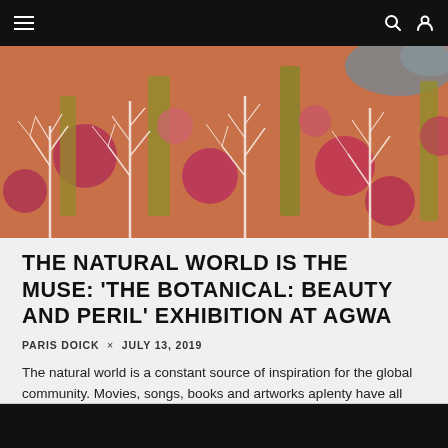Navigation bar with hamburger menu, search and user icons
[Figure (illustration): A colourful botanical painting showing stylized trees with white bare branches, surrounded by rich orange, magenta/pink circular foliage shapes and yellow-green tall trees against an orange and muted-blue background, densely patterned.]
THE NATURAL WORLD IS THE MUSE: ‘THE BOTANICAL: BEAUTY AND PERIL’ EXHIBITION AT AGWA
PARIS DOICK × JULY 13, 2019
The natural world is a constant source of inspiration for the global community. Movies, songs, books and artworks aplenty have all been created in awe of it and…
ART AND FILM   LATEST